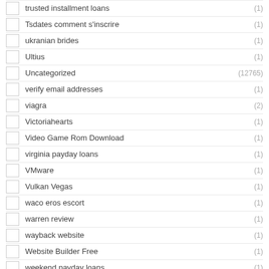trusted installment loans (1)
Tsdates comment s'inscrire (1)
ukranian brides (1)
Ultius (1)
Uncategorized (12765)
verify email addresses (1)
viagra (2)
Victoriahearts (1)
Video Game Rom Download (1)
virginia payday loans (1)
VMware (1)
Vulkan Vegas (1)
waco eros escort (1)
warren review (1)
wayback website (1)
Website Builder Free (1)
weekend payday loans (1)
who can do my homework for me (1)
wives